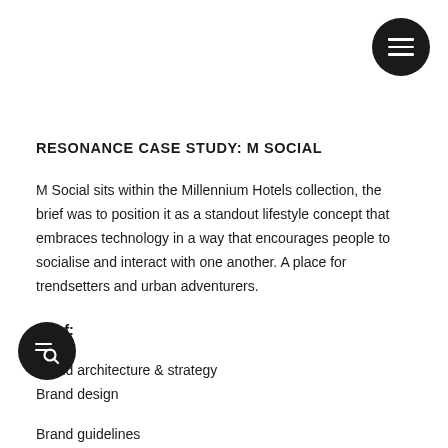[Figure (other): Dark circular menu button with three horizontal white lines (hamburger icon) in top right corner]
RESONANCE CASE STUDY: M SOCIAL
M Social sits within the Millennium Hotels collection, the brief was to position it as a standout lifestyle concept that embraces technology in a way that encourages people to socialise and interact with one another. A place for trendsetters and urban adventurers.
Brief:
Brand architecture & strategy
Brand design
Brand guidelines
[Figure (other): Dark circular search/filter button with magnifying glass and lines icon in bottom left corner]